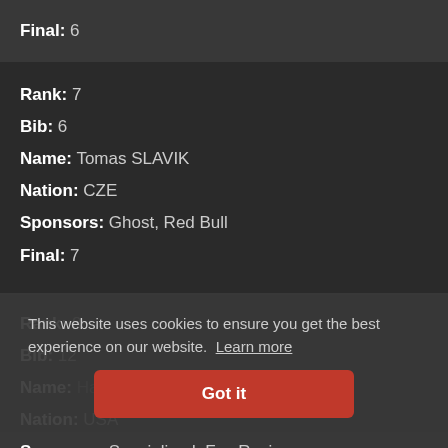Final: 6
Rank: 7
Bib: 6
Name: Tomas SLAVIK
Nation: CZE
Sponsors: Ghost, Red Bull
Final: 7
Rank: 8
Bib: 12
Name: Harper
Nation: USA
Sponsors: Specialized, Fox Racing
Final: 8
This website uses cookies to ensure you get the best experience on our website. Learn more
Got it